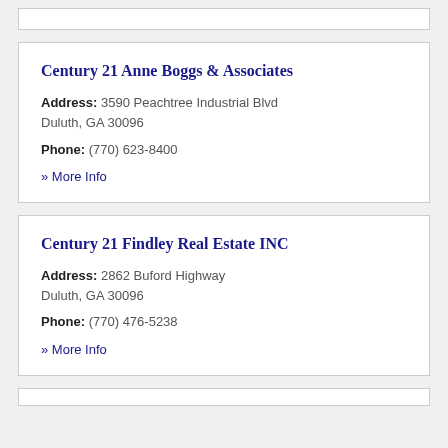Century 21 Anne Boggs & Associates
Address: 3590 Peachtree Industrial Blvd Duluth, GA 30096
Phone: (770) 623-8400
» More Info
Century 21 Findley Real Estate INC
Address: 2862 Buford Highway Duluth, GA 30096
Phone: (770) 476-5238
» More Info